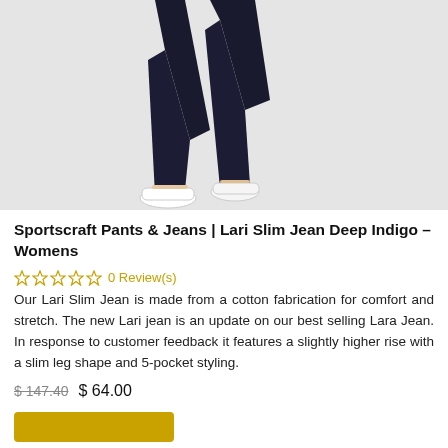[Figure (photo): Lower body of a woman wearing dark navy slim jeans and white flat shoes against a light grey background]
Sportscraft Pants & Jeans | Lari Slim Jean Deep Indigo – Womens
☆☆☆☆☆ 0 Review(s)
Our Lari Slim Jean is made from a cotton fabrication for comfort and stretch. The new Lari jean is an update on our best selling Lara Jean. In response to customer feedback it features a slightly higher rise with a slim leg shape and 5-pocket styling.
$ 147.40  $ 64.00